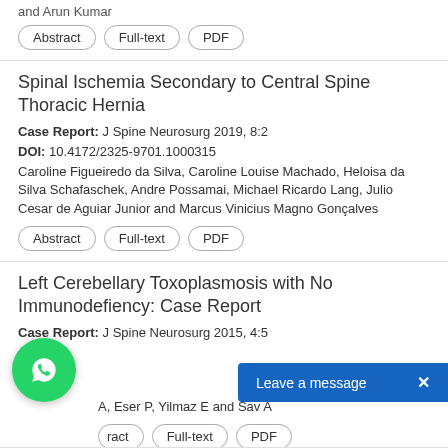and Arun Kumar
Abstract | Full-text | PDF
Spinal Ischemia Secondary to Central Spine Thoracic Hernia
Case Report: J Spine Neurosurg 2019, 8:2
DOI: 10.4172/2325-9701.1000315
Caroline Figueiredo da Silva, Caroline Louise Machado, Heloisa da Silva Schafaschek, Andre Possamai, Michael Ricardo Lang, Julio Cesar de Aguiar Junior and Marcus Vinicius Magno Gonçalves
Abstract | Full-text | PDF
Left Cerebellary Toxoplasmosis with No Immunodefiency: Case Report
Case Report: J Spine Neurosurg 2015, 4:5
A, Eser P, Yilmaz E and Sav A
Abstract | Full-text | PDF